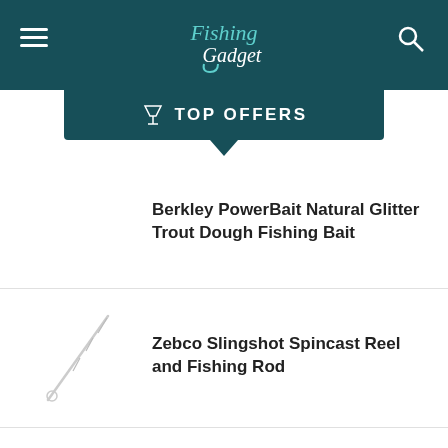Fishing Gadget — TOP OFFERS
Berkley PowerBait Natural Glitter Trout Dough Fishing Bait
Zebco Slingshot Spincast Reel and Fishing Rod
Abu Garcia Zata Spinning Fishing Reel — $142.80
Uncle Jim's Worm Farm European Nightcrawlers Composting and Fishing